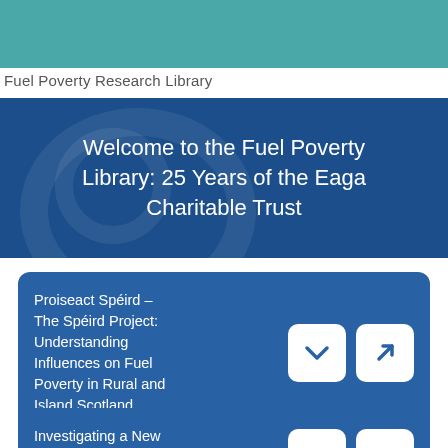Fuel Poverty Research Library
Welcome to the Fuel Poverty Library: 25 Years of the Eaga Charitable Trust
Proiseact Spéird – The Spéird Project: Understanding Influences on Fuel Poverty in Rural and Island Scotland
Investigating a New Way of Delivering Energy to Tackle Fuel